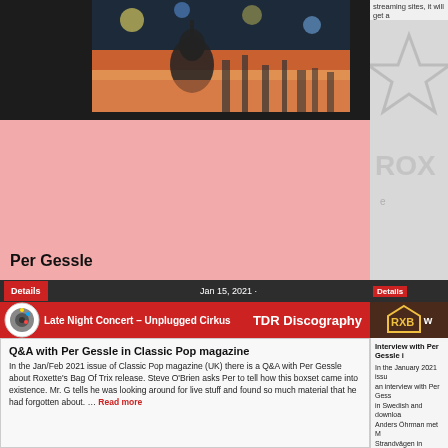[Figure (photo): Concert photo showing guitar silhouette against stage lights and colorful background]
streaming sites, it will get a
Per Gessle
Details
Jan 15, 2021 ·
Late Night Concert – Unplugged Cirkus
TDR Discography
[Figure (logo): ROXETTE logo with star design]
Details
w
Q&A with Per Gessle in Classic Pop magazine
In the Jan/Feb 2021 issue of Classic Pop magazine (UK) there is a Q&A with Per Gessle about Roxette's Bag Of Trix release. Steve O'Brien asks Per to tell how this boxset came into existence. Mr. G tells he was looking around for live stuff and found so much material that he had forgotten about. … Read more
Interview with Per Gessle i
In the January 2021 issue an interview with Per Gess in Swedish and downloa Anders Öhrman met M Strandvägen in Stockhо Anders loves Roxette sinc single, Neverending … Rea